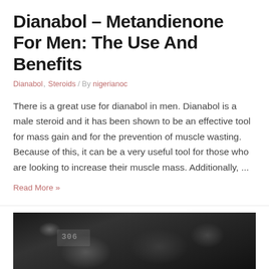Dianabol – Metandienone For Men: The Use And Benefits
Dianabol, Steroids / By nigerianoc
There is a great use for dianabol in men. Dianabol is a male steroid and it has been shown to be an effective tool for mass gain and for the prevention of muscle wasting. Because of this, it can be a very useful tool for those who are looking to increase their muscle mass. Additionally, ...
Read More »
[Figure (photo): Black and white photo of a man at gym equipment, a digital timer/display visible in background]